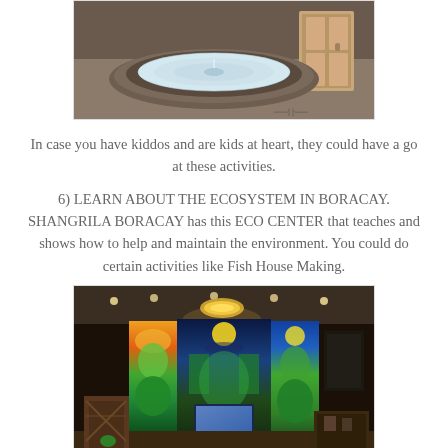[Figure (photo): A large circular stone/concrete jacuzzi or hot tub viewed from above, in a spa or hotel room with warm lighting and a wooden door visible in the background.]
In case you have kiddos and are kids at heart, they could have a go at these activities.
6) LEARN ABOUT THE ECOSYSTEM IN BORACAY. SHANGRILA BORACAY has this ECO CENTER that teaches and shows how to help and maintain the environment. You could do certain activities like Fish House Making.
[Figure (photo): An interior room of what appears to be an eco center at Shangrila Boracay, featuring colorful murals/panels with tropical nature artwork on the walls, a TV/display screen, a chandelier, recessed lighting, and wooden furniture.]